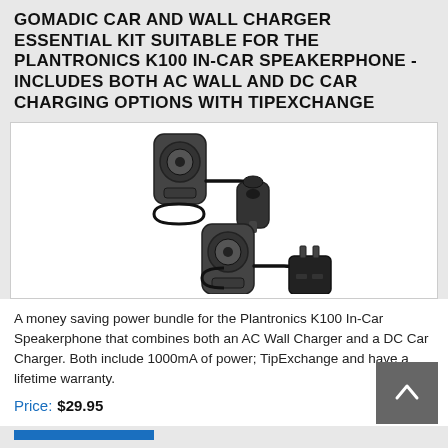GOMADIC CAR AND WALL CHARGER ESSENTIAL KIT SUITABLE FOR THE PLANTRONICS K100 IN-CAR SPEAKERPHONE - INCLUDES BOTH AC WALL AND DC CAR CHARGING OPTIONS WITH TIPEXCHANGE
[Figure (photo): Product photo showing the Plantronics K100 In-Car Speakerphone connected to a DC car charger (top) and an AC wall charger (bottom), with coiled cables.]
A money saving power bundle for the Plantronics K100 In-Car Speakerphone that combines both an AC Wall Charger and a DC Car Charger. Both include 1000mA of power; TipExchange and have a lifetime warranty.
Price: $29.95